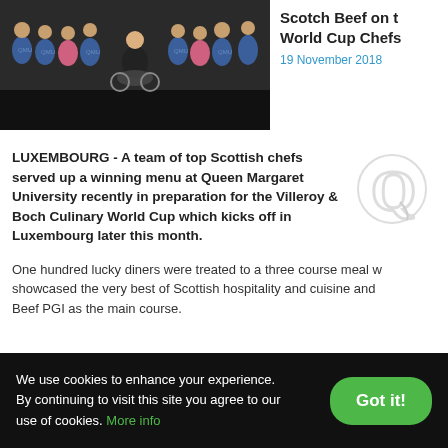[Figure (photo): Group photo of chefs in blue and pink aprons with a person in a wheelchair in the centre, against a dark background]
Scotch Beef on the World Cup Chefs
19 November 2018
LUXEMBOURG - A team of top Scottish chefs served up a winning menu at Queen Margaret University recently in preparation for the Villeroy & Boch Culinary World Cup which kicks off in Luxembourg later this month.
One hundred lucky diners were treated to a three course meal w... showcased the very best of Scottish hospitality and cuisine and ... Beef PGI as the main course.
We use cookies to enhance your experience. By continuing to visit this site you agree to our use of cookies. More info